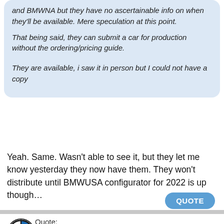and BMWNA but they have no ascertainable info on when they'll be available. Mere speculation at this point.

That being said, they can submit a car for production without the ordering/pricing guide.
They are available, i saw it in person but I could not have a copy
Yeah. Same. Wasn't able to see it, but they let me know yesterday they now have them. They won't distribute until BMWUSA configurator for 2022 is up though…
QUOTE
Ctriggs5 10:55 AM 07-10-2021
Quote: